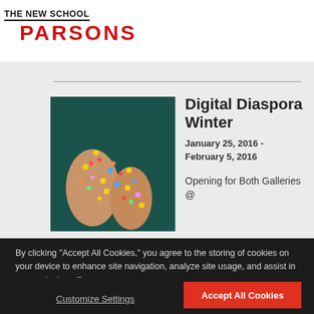THE NEW SCHOOL PARSONS
[Figure (photo): Hands decorated with colorful glitter/confetti against a dark teal background]
Digital Diaspora Winter
January 25, 2016 - February 5, 2016
Opening for Both Galleries @
By clicking "Accept All Cookies," you agree to the storing of cookies on your device to enhance site navigation, analyze site usage, and assist in our marketing efforts.
Cookie Statement
Customize Settings
Accept All Cookies